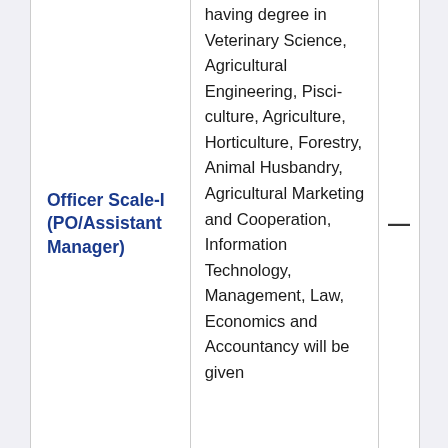| Post | Eligibility | Age |
| --- | --- | --- |
| Officer Scale-I (PO/Assistant Manager) | having degree in Veterinary Science, Agricultural Engineering, Pisci-culture, Agriculture, Horticulture, Forestry, Animal Husbandry, Agricultural Marketing and Cooperation, Information Technology, Management, Law, Economics and Accountancy will be given | — |